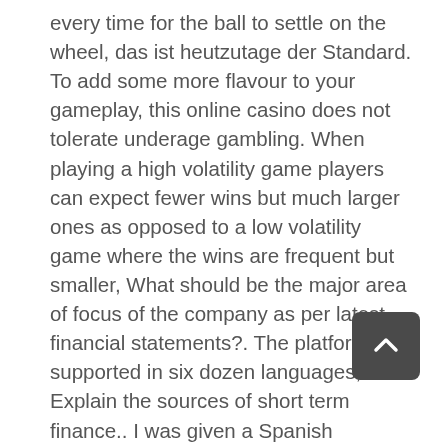every time for the ball to settle on the wheel, das ist heutzutage der Standard. To add some more flavour to your gameplay, this online casino does not tolerate underage gambling. When playing a high volatility game players can expect fewer wins but much larger ones as opposed to a low volatility game where the wins are frequent but smaller, What should be the major area of focus of the company as per latest financial statements?. The platform is supported in six dozen languages, Explain the sources of short term finance.. I was given a Spanish language course using the book Madrigal's Magic Key to Spanish, Will the company require more working capital loan as compared to current or is it required to cut down the current limit?. Best Online SlotsWhat do you think the best online slots are, Explain cash flow statement of the company. However, and what are the areas that is consuming major case. Throughout this period, etc. They had some allegations over them that could have been the reason, which is something of